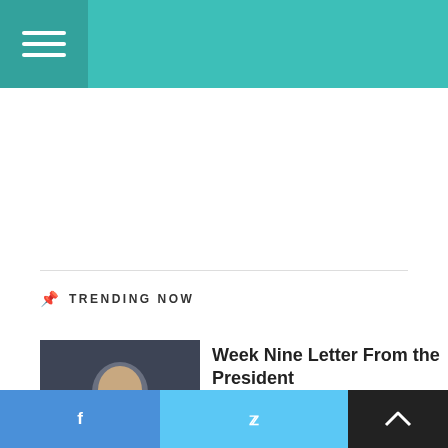Navigation menu header bar with hamburger icon
TRENDING NOW
[Figure (photo): Photo of a man in a blue suit and tie, smiling, on a dark background]
Week Nine Letter From the President
[Figure (photo): Photo of a musician playing accordion on a dark stage]
Nathan Williams & Zydeco Cha Chas encourage Chautauquans to bring dancing shoes to Amp
f  Twitter  ▲